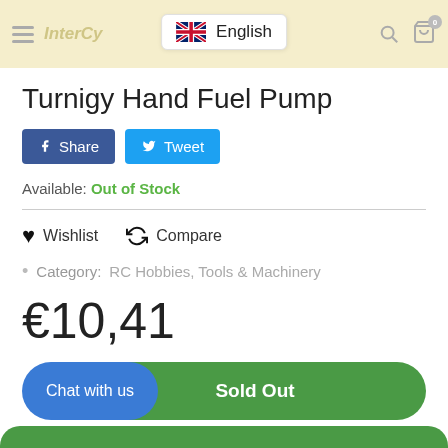InterCy... English
Turnigy Hand Fuel Pump
Share  Tweet
Available: Out of Stock
Wishlist   Compare
Category:   RC Hobbies, Tools & Machinery
€10,41
Chat with us   Sold Out